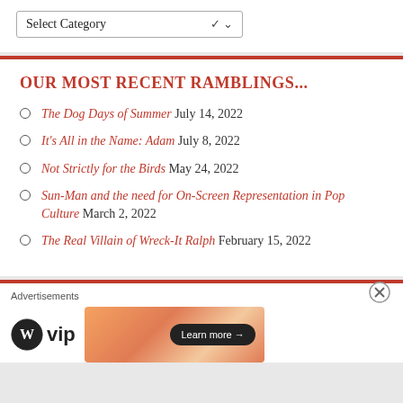Select Category
OUR MOST RECENT RAMBLINGS...
The Dog Days of Summer July 14, 2022
It's All in the Name: Adam July 8, 2022
Not Strictly for the Birds May 24, 2022
Sun-Man and the need for On-Screen Representation in Pop Culture March 2, 2022
The Real Villain of Wreck-It Ralph February 15, 2022
Advertisements
[Figure (logo): WordPress VIP logo with circular W icon and 'vip' text, alongside an advertisement banner with gradient orange background and 'Learn more' button]